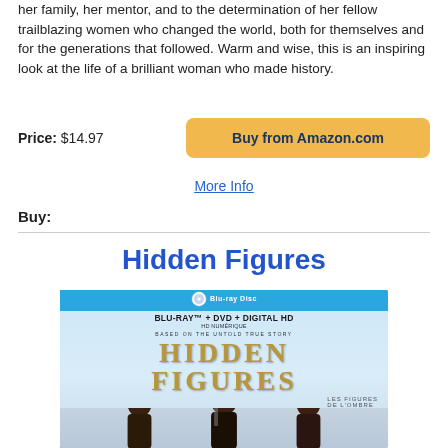her family, her mentor, and to the determination of her fellow trailblazing women who changed the world, both for themselves and for the generations that followed. Warm and wise, this is an inspiring look at the life of a brilliant woman who made history.
Price: $14.97
Buy from Amazon.com
More Info
Buy:
Hidden Figures
[Figure (photo): Hidden Figures Blu-ray + DVD + Digital HD product cover showing three women and the title in gold letters]